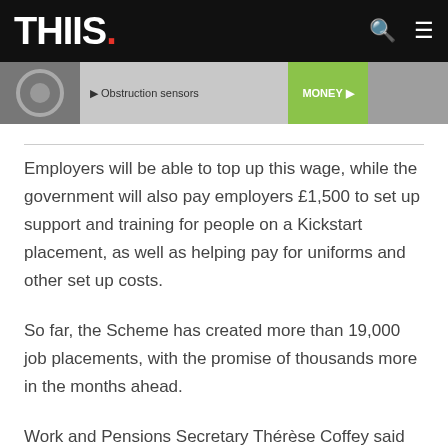THIIS.
[Figure (photo): Advertisement banner showing obstruction sensors product with green button]
Employers will be able to top up this wage, while the government will also pay employers £1,500 to set up support and training for people on a Kickstart placement, as well as helping pay for uniforms and other set up costs.
So far, the Scheme has created more than 19,000 job placements, with the promise of thousands more in the months ahead.
Work and Pensions Secretary Thérèse Coffey said that the heartening response of employers shows that they recognise the huge value in giving youth a chance. She said: "Employers from all corners of the country have signed up,